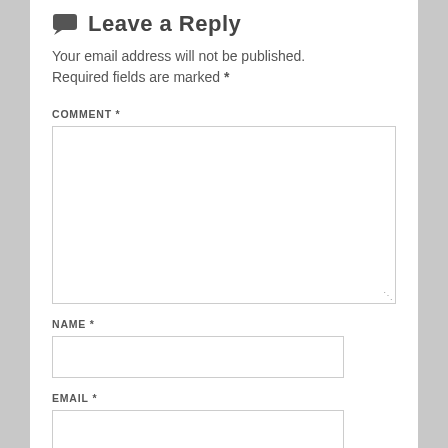Leave a Reply
Your email address will not be published. Required fields are marked *
COMMENT *
[Figure (other): Large empty comment textarea input box with resize handle]
NAME *
[Figure (other): Name text input field]
EMAIL *
[Figure (other): Email text input field (partially visible)]